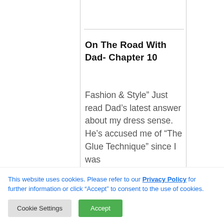On The Road With Dad- Chapter 10
Fashion & Style” Just read Dad’s latest answer about my dress sense. He’s accused me of “The Glue Technique” since I was
This website uses cookies. Please refer to our Privacy Policy for further information or click “Accept” to consent to the use of cookies.